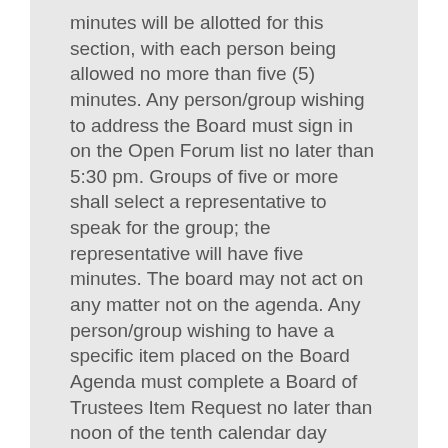minutes will be allotted for this section, with each person being allowed no more than five (5) minutes. Any person/group wishing to address the Board must sign in on the Open Forum list no later than 5:30 pm. Groups of five or more shall select a representative to speak for the group; the representative will have five minutes. The board may not act on any matter not on the agenda. Any person/group wishing to have a specific item placed on the Board Agenda must complete a Board of Trustees Item Request no later than noon of the tenth calendar day before the meeting. Per Board Policy GF (Local), members of the
VI. ACTION ITEM: Consent Agenda